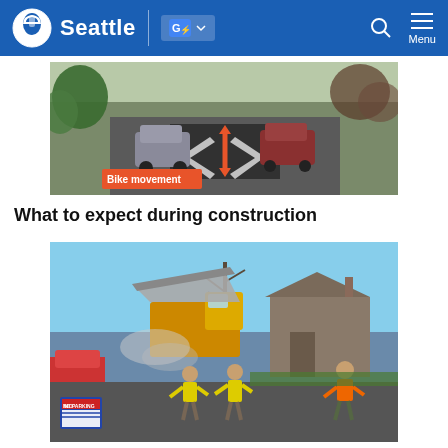Seattle
[Figure (photo): Aerial street-level view of a residential road in Seattle showing parked cars on both sides, with a dark-painted bike lane area in the center of the road and an orange double-headed arrow indicating bike movement direction. An orange label reads 'Bike movement'.]
What to expect during construction
[Figure (photo): Construction scene on a residential street in Seattle showing a dump truck dumping material, workers in yellow/orange safety vests working on road paving, a 'No Parking' sign visible in the foreground, and houses in the background.]